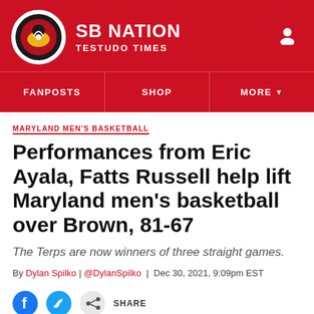SB NATION | TESTUDO TIMES
FANPOSTS | SHOP | MORE
MARYLAND MEN'S BASKETBALL
Performances from Eric Ayala, Fatts Russell help lift Maryland men's basketball over Brown, 81-67
The Terps are now winners of three straight games.
By Dylan Spilko | @DylanSpilko | Dec 30, 2021, 9:09pm EST